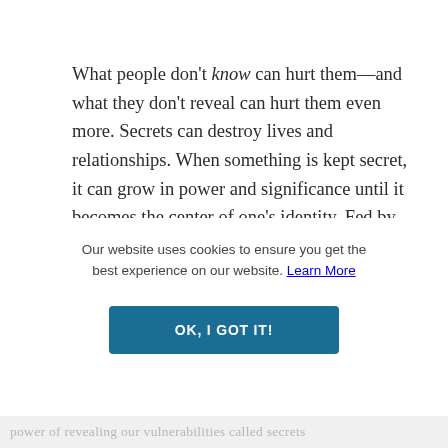What people don't know can hurt them—and what they don't reveal can hurt them even more. Secrets can destroy lives and relationships. When something is kept secret, it can grow in power and significance until it becomes the center of one's identity. Fed by fear and shame, secrets thrive in the dark. People hiding with their secrets may shrink from intimacy, believing they would never be loved if their secrets were known. Secrets make strange bedfellows—we must cling to those who
Our website uses cookies to ensure you get the best experience on our website. Learn More
OK, I GOT IT!
power of revealing our vulnerabilities called secrets